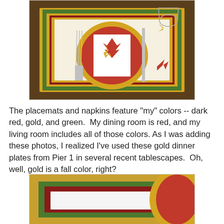[Figure (photo): Overhead view of a table setting with a yellow/gold placemat featuring a border pattern, a red dinner plate on a yellow plate, a white napkin with red and yellow autumn leaf decorations, silverware, and a glass, on a dark brown wooden table.]
The placemats and napkins feature "my" colors -- dark red, gold, and green.  My dining room is red, and my living room includes all of those colors. As I was adding these photos, I realized I've used these gold dinner plates from Pier 1 in several recent tablescapes.  Oh, well, gold is a fall color, right?
[Figure (photo): Close-up view of a placemat with layered border stripes in gold, green, red, and white, with the edge of a yellow/gold plate visible and a red plate below.]